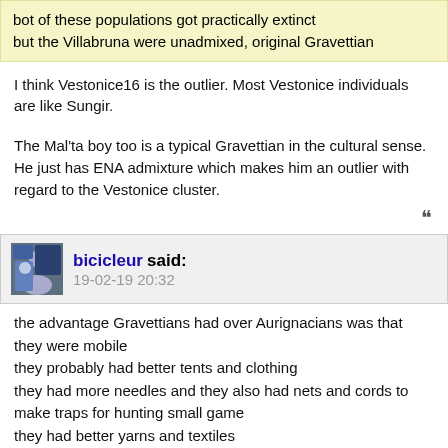bot of these populations got practically extinct but the Villabruna were unadmixed, original Gravettian
I think Vestonice16 is the outlier. Most Vestonice individuals are like Sungir.
The Mal'ta boy too is a typical Gravettian in the cultural sense. He just has ENA admixture which makes him an outlier with regard to the Vestonice cluster.
bicicleur said: 19-02-19 20:32
the advantage Gravettians had over Aurignacians was that they were mobile
they probably had better tents and clothing
they had more needles and they also had nets and cords to make traps for hunting small game
they had better yarns and textiles
they were so efficient, mammouths with European DNA got extinct
but new mammouths arrived, with DNA from Siberia and even Alaska